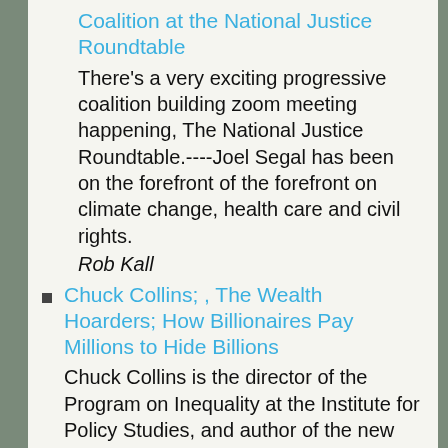Coalition at the National Justice Roundtable
There's a very exciting progressive coalition building zoom meeting happening, The National Justice Roundtable.----Joel Segal has been on the forefront of the forefront on climate change, health care and civil rights.
Rob Kall
Chuck Collins; , The Wealth Hoarders; How Billionaires Pay Millions to Hide Billions
Chuck Collins is the director of the Program on Inequality at the Institute for Policy Studies, and author of the new book, The Wealth Hoarders; How Billionaires Pay Millions to Hide Billions, released the following statement:---- ' -Taxes have become almost optional for the super-rich. President Biden' s plan is a welcome first step in [...]
Rob Kall
Vincent James music evangelist and National